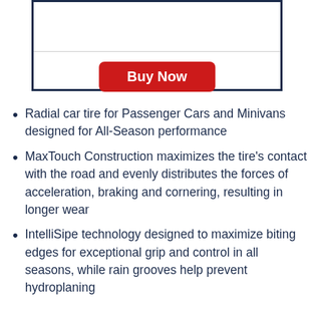[Figure (other): A bordered box with a horizontal divider line and a red 'Buy Now' button]
Radial car tire for Passenger Cars and Minivans designed for All-Season performance
MaxTouch Construction maximizes the tire's contact with the road and evenly distributes the forces of acceleration, braking and cornering, resulting in longer wear
IntelliSipe technology designed to maximize biting edges for exceptional grip and control in all seasons, while rain grooves help prevent hydroplaning